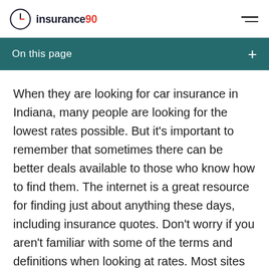insurance90
On this page
When they are looking for car insurance in Indiana, many people are looking for the lowest rates possible. But it's important to remember that sometimes there can be better deals available to those who know how to find them. The internet is a great resource for finding just about anything these days, including insurance quotes. Don't worry if you aren't familiar with some of the terms and definitions when looking at rates. Most sites will have explanations for